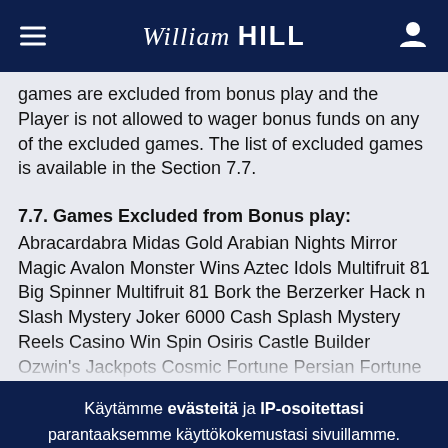William HILL
games are excluded from bonus play and the Player is not allowed to wager bonus funds on any of the excluded games. The list of excluded games is available in the Section 7.7.
7.7. Games Excluded from Bonus play:
Abracardabra Midas Gold Arabian Nights Mirror Magic Avalon Monster Wins Aztec Idols Multifruit 81 Big Spinner Multifruit 81 Bork the Berzerker Hack n Slash Mystery Joker 6000 Cash Splash Mystery Reels Casino Win Spin Osiris Castle Builder Ozwin's Jackpots Cosmic Fortune Persian Fortune Count Duckula Pots O'Luck Dead Or Alive Power Force
Käytämme evästeitä ja IP-osoitettasi parantaaksemme käyttökokemustasi sivuillamme.
Ymmärrän